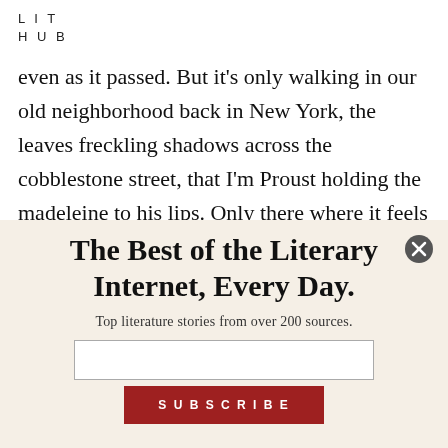LIT
HUB
even as it passed. But it's only walking in our old neighborhood back in New York, the leaves freckling shadows across the cobblestone street, that I'm Proust holding the madeleine to his lips. Only there where it feels as if Olive is still around, and as if I will soon be on my way to
The Best of the Literary Internet, Every Day.
Top literature stories from over 200 sources.